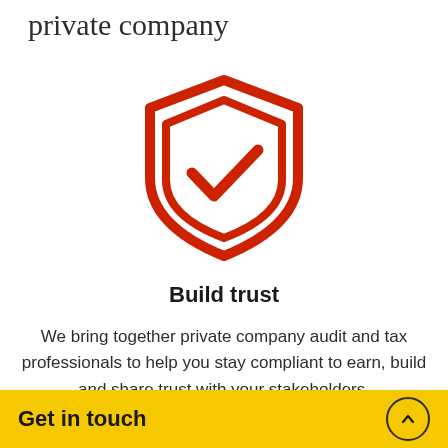private company
[Figure (illustration): Red shield icon with a checkmark inside, nested shield shapes in red outline]
Build trust
We bring together private company audit and tax professionals to help you stay compliant to earn, build and share trust with your stakeholders.
See how our community of solvers can help
Get in touch